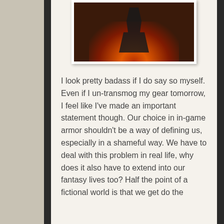[Figure (photo): A dark fantasy game screenshot showing an armored character silhouetted against a glowing red-orange fire/lava background in a dungeon or outdoor setting at night.]
I look pretty badass if I do say so myself. Even if I un-transmog my gear tomorrow, I feel like I've made an important statement though. Our choice in in-game armor shouldn't be a way of defining us, especially in a shameful way. We have to deal with this problem in real life, why does it also have to extend into our fantasy lives too? Half the point of a fictional world is that we get do the